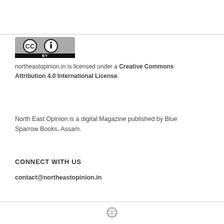[Figure (logo): Creative Commons CC BY logo badge - grey background with CC and person icons and BY text]
northeastopinion.in is licensed under a Creative Commons Attribution 4.0 International License.
North East Opinion is a digital Magazine published by Blue Sparrow Books, Assam.
CONNECT WITH US
contact@northeastopinion.in
[Figure (logo): WordPress logo icon at page footer]